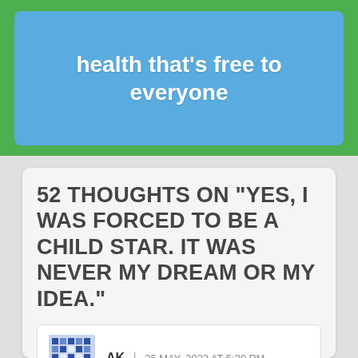[Figure (other): Green banner with blue rounded rectangle containing white bold text: 'a conversation about mental health that's free to everyone']
52 THOUGHTS ON "YES, I WAS FORCED TO BE A CHILD STAR. IT WAS NEVER MY DREAM OR MY IDEA."
AK | 25 MAY, 2022 AT 5:39 PM
I've bought Still Just A Geek but haven't gotten to read it yet, apologies if this is covered in the book, but: I have a 7-year